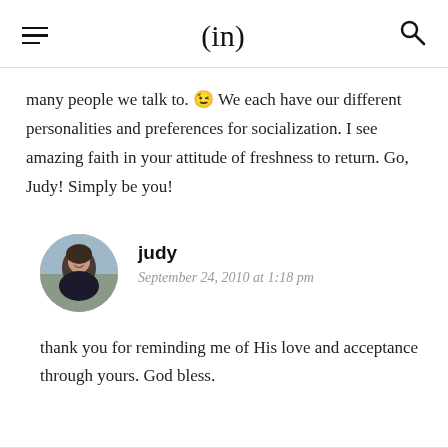(in)
many people we talk to. 😉 We each have our different personalities and preferences for socialization. I see amazing faith in your attitude of freshness to return. Go, Judy! Simply be you!
judy
September 24, 2010 at 1:18 pm
thank you for reminding me of His love and acceptance through yours. God bless.